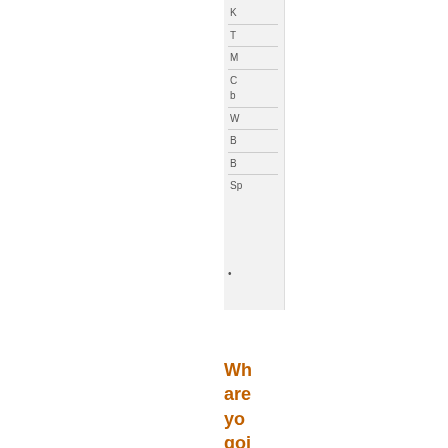K
T
M
C b
W
B
B
Sp
•
Where are you going to get your Vita